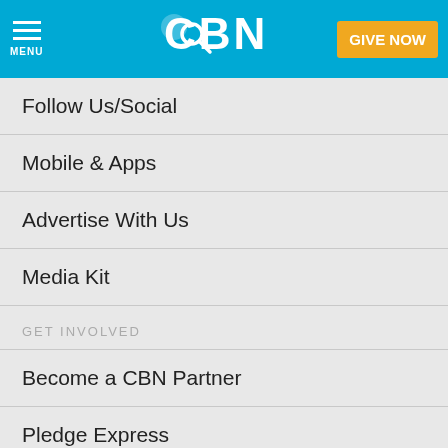CBN — MENU | Search | GIVE NOW
Follow Us/Social
Mobile & Apps
Advertise With Us
Media Kit
GET INVOLVED
Become a CBN Partner
Pledge Express
Planned Giving & Your Legacy
Donate Stock
Employer Matching Gifts